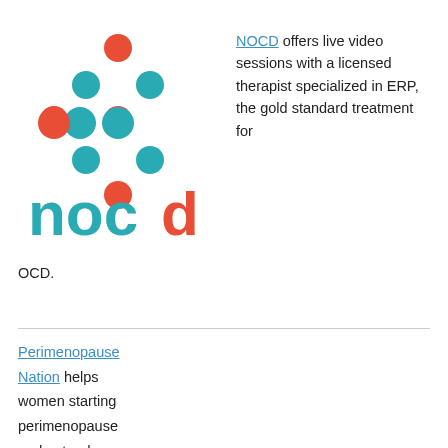[Figure (logo): NOCD logo with teal and orange dot pattern and 'nocd' text in teal and orange]
NOCD offers live video sessions with a licensed therapist specialized in ERP, the gold standard treatment for OCD.
Perimenopause Nation helps women starting perimenopause understand what's happening to them, put together a personalized survival plan, and design the next chapter of their lives.